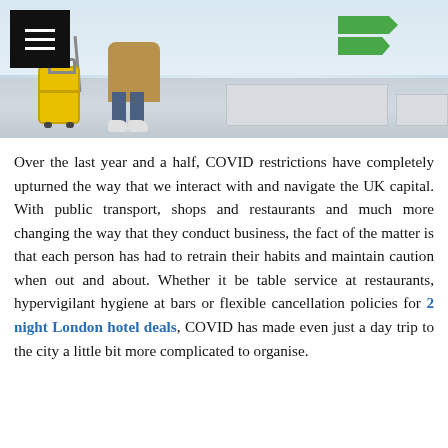[Figure (photo): Airport scene with a person in a beige/tan coat pulling a bright yellow rolling suitcase. The person is wearing blue jeans and white sneakers. The background shows an airport terminal with check-in counters. A black hamburger-menu button is overlaid in the top-left corner.]
Over the last year and a half, COVID restrictions have completely upturned the way that we interact with and navigate the UK capital. With public transport, shops and restaurants and much more changing the way that they conduct business, the fact of the matter is that each person has had to retrain their habits and maintain caution when out and about. Whether it be table service at restaurants, hypervigilant hygiene at bars or flexible cancellation policies for 2 night London hotel deals, COVID has made even just a day trip to the city a little bit more complicated to organise.